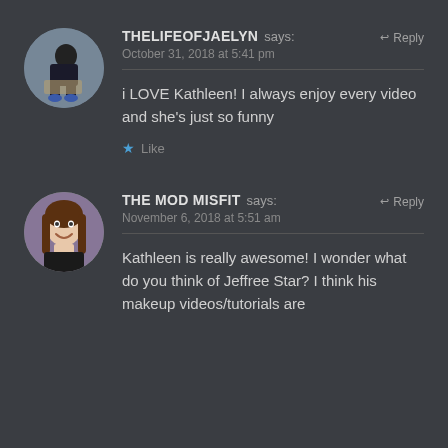[Figure (photo): Circular avatar of a person sitting on a box, wearing dark clothes and blue shoes]
THELIFEOFJAELYN says: October 31, 2018 at 5:41 pm
i LOVE Kathleen! I always enjoy every video and she's just so funny
Like
[Figure (photo): Circular avatar of a young woman with long brown hair, smiling]
THE MOD MISFIT says: November 6, 2018 at 5:51 am
Kathleen is really awesome! I wonder what do you think of Jeffree Star? I think his makeup videos/tutorials are